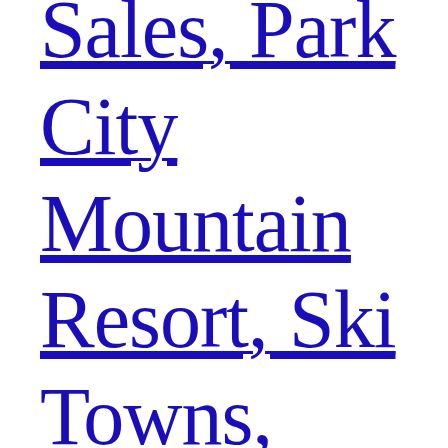Sales, Park City Mountain Resort, Ski Towns, Park City Real